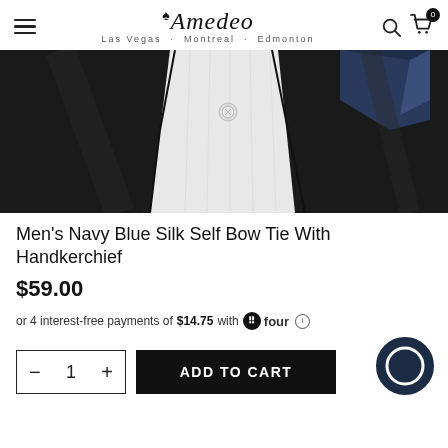Amedeo — Las Vegas · Montreal · Edmonton
[Figure (photo): Close-up of a man wearing a dark navy/black tuxedo jacket with a white dress shirt and a navy blue silk pocket square visible in the breast pocket.]
Men's Navy Blue Silk Self Bow Tie With Handkerchief
$59.00
or 4 interest-free payments of $14.75 with four ℹ
— 1 +   ADD TO CART